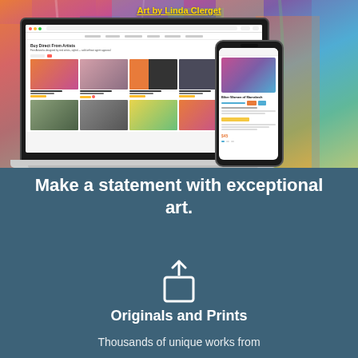Art by Linda Clerget
[Figure (screenshot): Screenshot of an art marketplace website shown on a laptop and mobile phone, displaying various artworks for sale including paintings, photography, and prints]
Make a statement with exceptional art.
[Figure (illustration): Share/upload icon (box with upward arrow)]
Originals and Prints
Thousands of unique works from